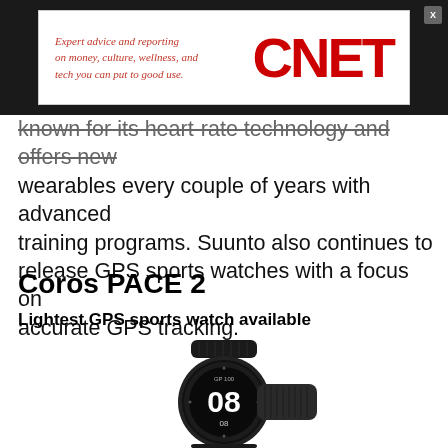[Figure (screenshot): CNET advertisement banner with red italic tagline text and large red CNET logo on white background within dark banner]
known for its heart-rate technology and offers new wearables every couple of years with advanced training programs. Suunto also continues to release GPS sports watches with a focus on accurate GPS tracking.
Coros PACE 2
Lightest GPS sports watch available
[Figure (photo): Coros PACE 2 GPS sports watch with dark mesh band showing the watch face with number 08 displayed, photographed from front against white background]